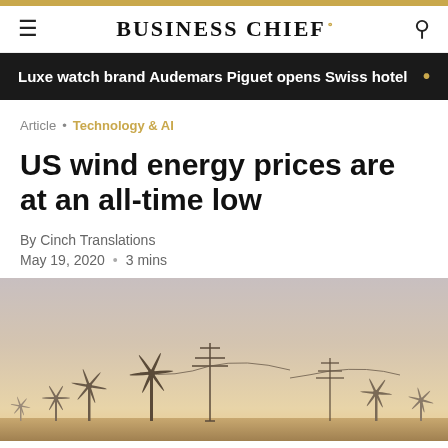BUSINESS CHIEF.
Luxe watch brand Audemars Piguet opens Swiss hotel
Article • Technology & AI
US wind energy prices are at an all-time low
By Cinch Translations
May 19, 2020 • 3 mins
[Figure (photo): Wind turbines and electricity pylons photographed at dusk/sunset with a warm pastel sky background]